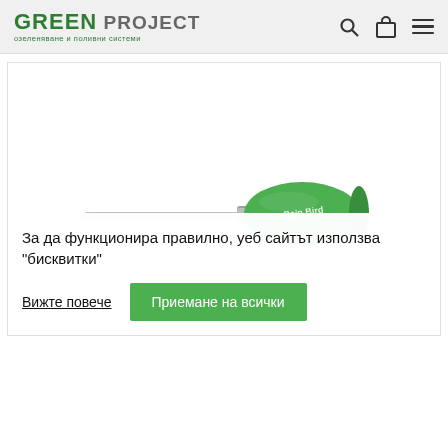[Figure (logo): Green Project logo with Bulgarian subtitle 'озеленяване и поливни системи']
[Figure (photo): A screwdriver tool with green handle and metal shaft, brand Rain Bird, on white background]
За да функционира правилно, уеб сайтът използва "бисквитки"
Вижте повече
Приемане на всички